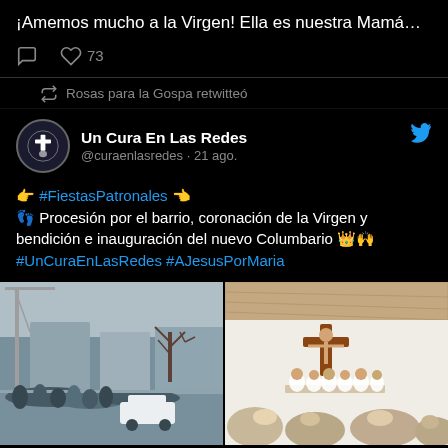¡Amemos mucho a la Virgen! Ella es nuestra Mamá…
♡ 73
🔁 Rosas para la Gospa retwitteó
Un Cura En Las Redes @curaenlasredes · 21 ago.
👉 #FiestasPatronales 👈
👣 Procesión por el barrio, coronación de la Virgen y bendición e inauguración del nuevo Columbario 👑🙌
#UnCuraEnLasRedes #AJesusPorMaria
[Figure (photo): Left photo: outdoor crowd gathered in a plaza or street, bare winter trees, buildings in background. Right photo: interior of a church with a large wooden crucifix on white wall, priests and congregation visible.]